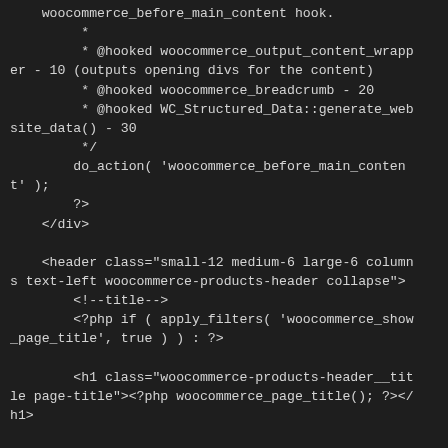woocommerce_before_main_content hook.
         *
         * @hooked woocommerce_output_content_wrapper - 10 (outputs opening divs for the content)
         * @hooked woocommerce_breadcrumb - 20
         * @hooked WC_Structured_Data::generate_website_data() - 30
         */
        do_action( 'woocommerce_before_main_content' );
        ?>
    </div>

    <header class="small-12 medium-6 large-6 columns text-left woocommerce-products-header collapse">
        <!--title-->
        <?php if ( apply_filters( 'woocommerce_show_page_title', true ) ) : ?>

        <h1 class="woocommerce-products-header__title page-title"><?php woocommerce_page_title(); ?></h1>